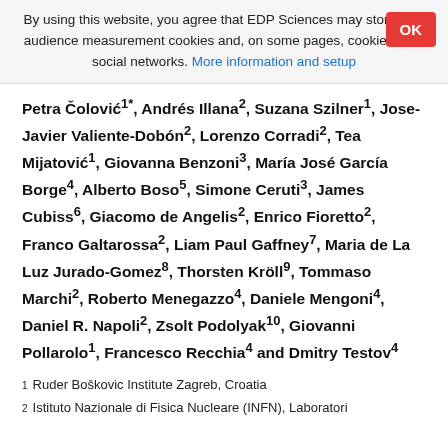By using this website, you agree that EDP Sciences may store web audience measurement cookies and, on some pages, cookies from social networks. More information and setup
Petra Čolović1*, Andrés Illana2, Suzana Szilner1, Jose-Javier Valiente-Dobón2, Lorenzo Corradi2, Tea Mijatović1, Giovanna Benzoni3, María José García Borge4, Alberto Boso5, Simone Ceruti3, James Cubiss6, Giacomo de Angelis2, Enrico Fioretto2, Franco Galtarossa2, Liam Paul Gaffney7, Maria de La Luz Jurado-Gomez8, Thorsten Kröll9, Tommaso Marchi2, Roberto Menegazzo4, Daniele Mengoni4, Daniel R. Napoli2, Zsolt Podolyak10, Giovanni Pollarolo1, Francesco Recchia4 and Dmitry Testov4
1 Ruder Boškovic Institute Zagreb, Croatia
2 Istituto Nazionale di Fisica Nucleare (INFN), Laboratori